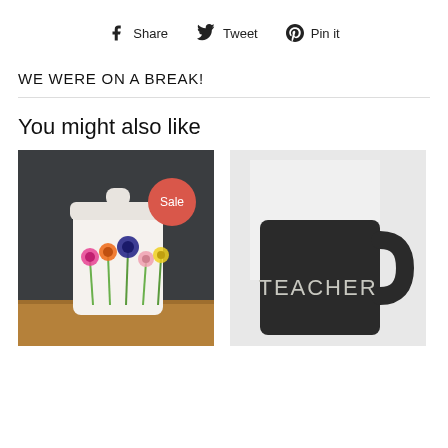Share  Tweet  Pin it
WE WERE ON A BREAK!
You might also like
[Figure (photo): White ceramic canister jar with colorful floral painting on a wooden surface against dark background, with a red Sale badge]
[Figure (photo): Black matte ceramic mug with TEACHER text in light lettering, against a light background]